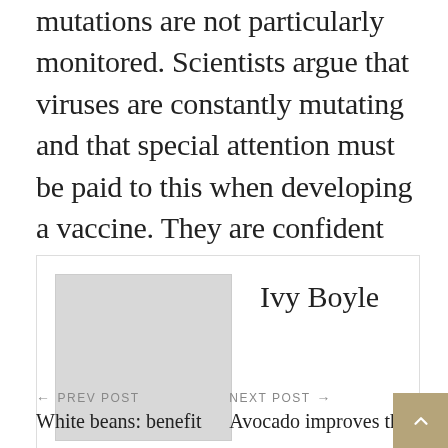mutations are not particularly monitored. Scientists argue that viruses are constantly mutating and that special attention must be paid to this when developing a vaccine. They are confident that the vaccine can help cope with the epidemic, but it is necessary to constantly monitor the changes in the virus. Vaccine developers can use scientific research to respond quickly and release the vaccine they need.
Ivy Boyle
← PREV POST | White beans: benefit    NEXT POST → | Avocado improves th…